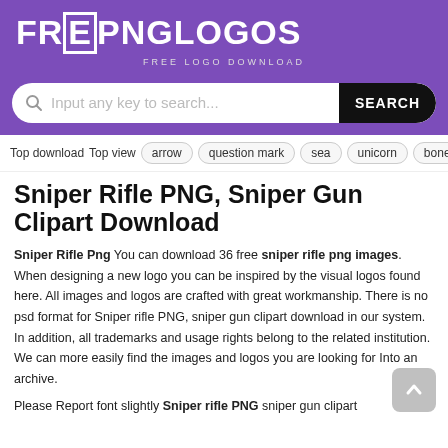FREEPNGLOGOS FREE LOGO DOWNLOAD
[Figure (screenshot): Search bar with placeholder text 'Input any key to search...' and a dark SEARCH button]
Top download  Top view  arrow  question mark  sea  unicorn  bone
Sniper Rifle PNG, Sniper Gun Clipart Download
Sniper Rifle Png You can download 36 free sniper rifle png images. When designing a new logo you can be inspired by the visual logos found here. All images and logos are crafted with great workmanship. There is no psd format for Sniper rifle PNG, sniper gun clipart download in our system. In addition, all trademarks and usage rights belong to the related institution. We can more easily find the images and logos you are looking for Into an archive.
Please Report font slightly Sniper rifle PNG sniper gun clipart...